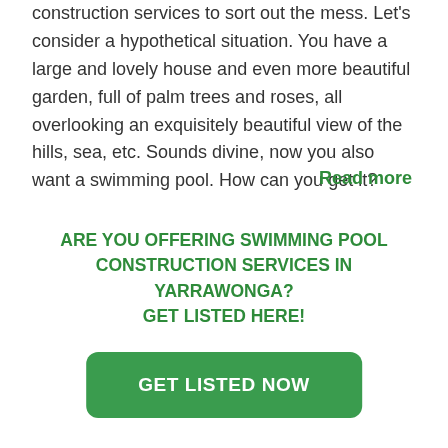construction services to sort out the mess. Let's consider a hypothetical situation. You have a large and lovely house and even more beautiful garden, full of palm trees and roses, all overlooking an exquisitely beautiful view of the hills, sea, etc. Sounds divine, now you also want a swimming pool. How can you get it?
Read more
ARE YOU OFFERING SWIMMING POOL CONSTRUCTION SERVICES IN YARRAWONGA? GET LISTED HERE!
GET LISTED NOW